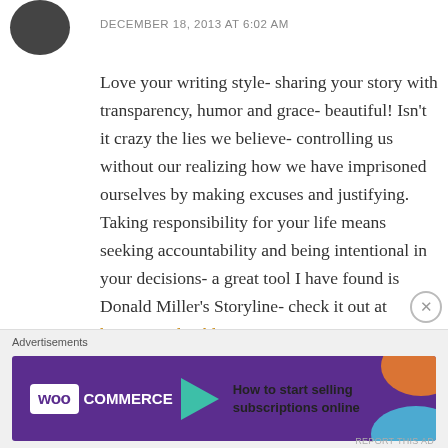DECEMBER 18, 2013 AT 6:02 AM
Love your writing style- sharing your story with transparency, humor and grace- beautiful! Isn't it crazy the lies we believe- controlling us without our realizing how we have imprisoned ourselves by making excuses and justifying. Taking responsibility for your life means seeking accountability and being intentional in your decisions- a great tool I have found is Donald Miller's Storyline- check it out at http://storylineblog.com.

I had a heart attack last summer which led me to
Advertisements
[Figure (screenshot): WooCommerce advertisement banner with purple background, teal arrow, and text 'How to start selling subscriptions online']